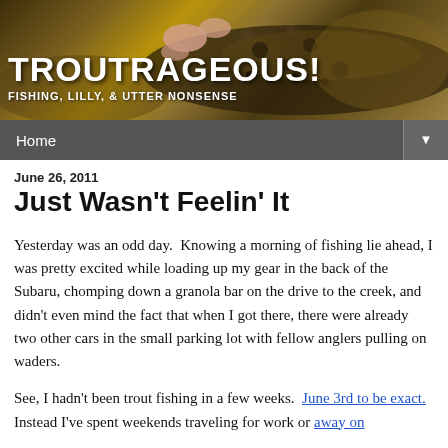[Figure (photo): Blog header banner showing a close-up photo of a fish (trout) being held, with mottled brown/gold scales and pink/flesh-colored hands visible. The image has a dark, textured appearance.]
TROUTRAGEOUS!
Fishing, Lilly, & Utter Nonsense
Home ▼
June 26, 2011
Just Wasn't Feelin' It
Yesterday was an odd day.  Knowing a morning of fishing lie ahead, I was pretty excited while loading up my gear in the back of the Subaru, chomping down a granola bar on the drive to the creek, and didn't even mind the fact that when I got there, there were already two other cars in the small parking lot with fellow anglers pulling on waders.
See, I hadn't been trout fishing in a few weeks.  June 3rd to be exact.  Instead I've spent weekends traveling for work or away on